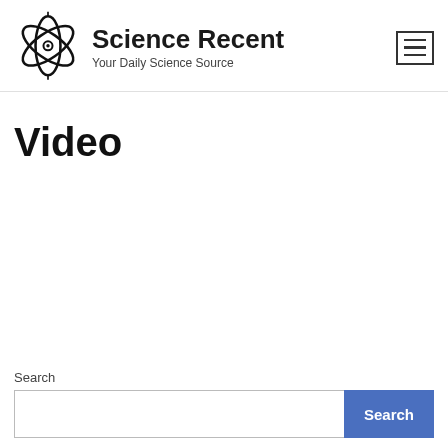Science Recent — Your Daily Science Source
Video
Search
[Figure (other): Search input field and Search button]